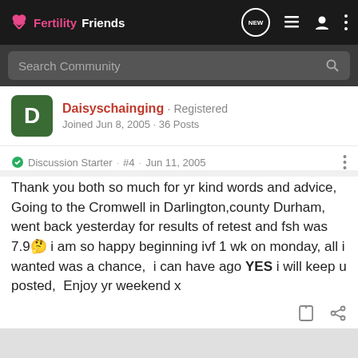FertilityFriends
Search Community
Daisyschainging · Registered
Joined Jun 8, 2005 · 36 Posts
Discussion Starter · #4 · Jun 11, 2005
Thank you both so much for yr kind words and advice, Going to the Cromwell in Darlington,county Durham, went back yesterday for results of retest and fsh was 7.9🙂 i am so happy beginning ivf 1 wk on monday, all i wanted was a chance,  i can have ago YES i will keep u posted,  Enjoy yr weekend x